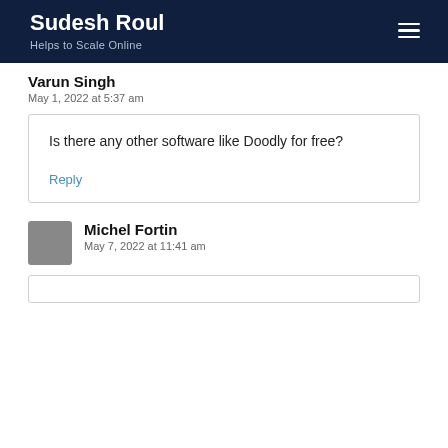Sudesh Roul — Helps to Scale Online
Varun Singh
May 1, 2022 at 5:37 am
Is there any other software like Doodly for free?
Reply
Michel Fortin
May 7, 2022 at 11:41 am